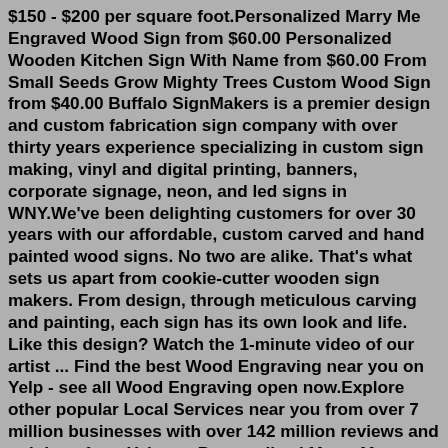$150 - $200 per square foot.Personalized Marry Me Engraved Wood Sign from $60.00 Personalized Wooden Kitchen Sign With Name from $60.00 From Small Seeds Grow Mighty Trees Custom Wood Sign from $40.00 Buffalo SignMakers is a premier design and custom fabrication sign company with over thirty years experience specializing in custom sign making, vinyl and digital printing, banners, corporate signage, neon, and led signs in WNY.We've been delighting customers for over 30 years with our affordable, custom carved and hand painted wood signs. No two are alike. That's what sets us apart from cookie-cutter wooden sign makers. From design, through meticulous carving and painting, each sign has its own look and life. Like this design? Watch the 1-minute video of our artist ... Find the best Wood Engraving near you on Yelp - see all Wood Engraving open now.Explore other popular Local Services near you from over 7 million businesses with over 142 million reviews and opinions from Yelpers. Personalized Marry Me Engraved Wood Sign from